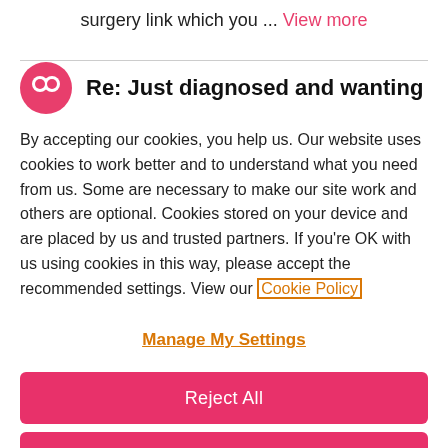surgery link which you … View more
Re: Just diagnosed and wanting
By accepting our cookies, you help us. Our website uses cookies to work better and to understand what you need from us. Some are necessary to make our site work and others are optional. Cookies stored on your device and are placed by us and trusted partners. If you're OK with us using cookies in this way, please accept the recommended settings. View our Cookie Policy
Manage My Settings
Reject All
Accept All Cookies